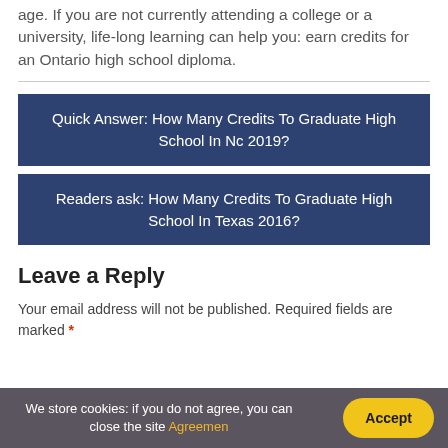age. If you are not currently attending a college or a university, life-long learning can help you: earn credits for an Ontario high school diploma.
Quick Answer: How Many Credits To Graduate High School In Nc 2019?
Readers ask: How Many Credits To Graduate High School In Texas 2016?
Leave a Reply
Your email address will not be published. Required fields are marked *
We store cookies: if you do not agree, you can close the site Agreemen